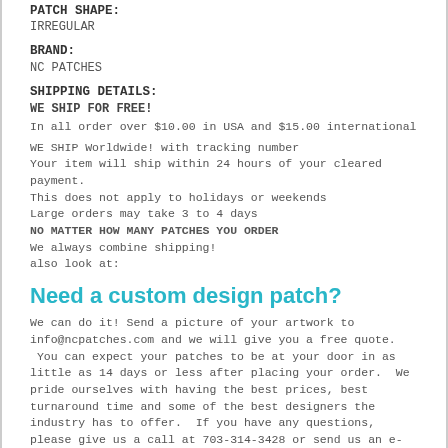PATCH SHAPE:
IRREGULAR
BRAND:
NC PATCHES
SHIPPING DETAILS:
WE SHIP FOR FREE!
In all order over $10.00 in USA and $15.00 international
WE SHIP Worldwide! with tracking number
Your item will ship within 24 hours of your cleared payment.
This does not apply to holidays or weekends
Large orders may take 3 to 4 days
NO MATTER HOW MANY PATCHES YOU ORDER
We always combine shipping!
also look at:
Need a custom design patch?
We can do it! Send a picture of your artwork to info@ncpatches.com and we will give you a free quote. You can expect your patches to be at your door in as little as 14 days or less after placing your order. We pride ourselves with having the best prices, best turnaround time and some of the best designers the industry has to offer. If you have any questions, please give us a call at 703-314-3428 or send us an e-mail at